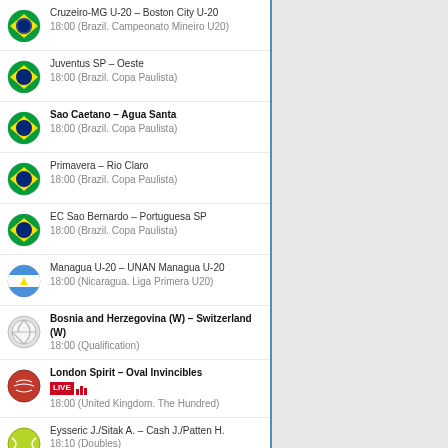Cruzeiro-MG U-20 – Boston City U-20
18:00 (Brazil. Campeonato Mineiro U20)
Juventus SP – Oeste
18:00 (Brazil. Copa Paulista)
Sao Caetano – Agua Santa
18:00 (Brazil. Copa Paulista)
Primavera – Rio Claro
18:00 (Brazil. Copa Paulista)
EC Sao Bernardo – Portuguesa SP
18:00 (Brazil. Copa Paulista)
Managua U-20 – UNAN Managua U-20
18:00 (Nicaragua. Liga Primera U20)
Bosnia and Herzegovina (W) – Switzerland (W)
18:00 (Qualification)
London Spirit – Oval Invincibles
LIVE 18:00 (United Kingdom. The Hundred)
Eysseric J./Sitak A. – Cash J./Patten H.
18:10 (Doubles)
CA Mannucci – Deportivo Municipal
LIVE 1:1 18:15 (Peru. Liga 1)